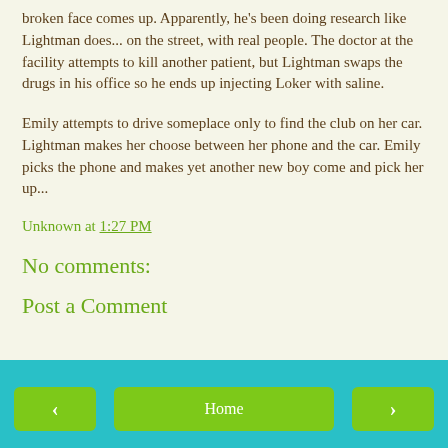broken face comes up. Apparently, he's been doing research like Lightman does... on the street, with real people. The doctor at the facility attempts to kill another patient, but Lightman swaps the drugs in his office so he ends up injecting Loker with saline.
Emily attempts to drive someplace only to find the club on her car. Lightman makes her choose between her phone and the car. Emily picks the phone and makes yet another new boy come and pick her up...
Unknown at 1:27 PM
No comments:
Post a Comment
< Home >